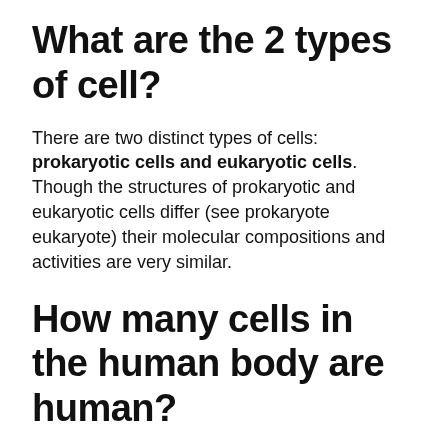What are the 2 types of cell?
There are two distinct types of cells: prokaryotic cells and eukaryotic cells. Though the structures of prokaryotic and eukaryotic cells differ (see prokaryote eukaryote) their molecular compositions and activities are very similar.
How many cells in the human body are human?
37.2 trillion cells